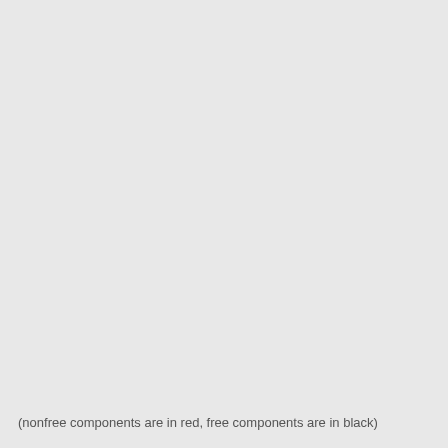(nonfree components are in red, free components are in black)